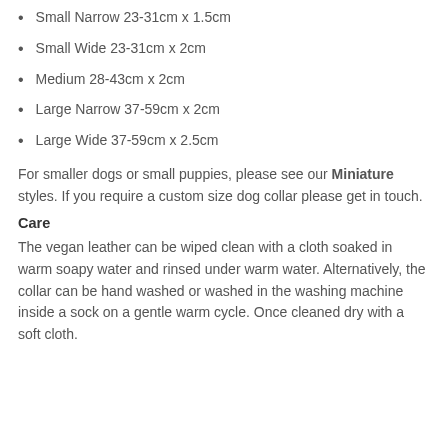Small Narrow 23-31cm x 1.5cm
Small Wide 23-31cm x 2cm
Medium 28-43cm x 2cm
Large Narrow 37-59cm x 2cm
Large Wide 37-59cm x 2.5cm
For smaller dogs or small puppies, please see our Miniature styles. If you require a custom size dog collar please get in touch.
Care
The vegan leather can be wiped clean with a cloth soaked in warm soapy water and rinsed under warm water. Alternatively, the collar can be hand washed or washed in the washing machine inside a sock on a gentle warm cycle. Once cleaned dry with a soft cloth.